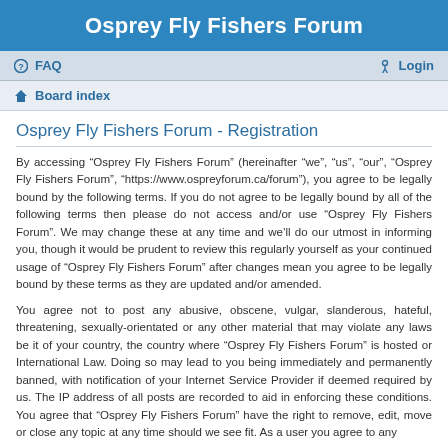Osprey Fly Fishers Forum
FAQ   Login
Board index
Osprey Fly Fishers Forum - Registration
By accessing “Osprey Fly Fishers Forum” (hereinafter “we”, “us”, “our”, “Osprey Fly Fishers Forum”, “https://www.ospreyforum.ca/forum”), you agree to be legally bound by the following terms. If you do not agree to be legally bound by all of the following terms then please do not access and/or use “Osprey Fly Fishers Forum”. We may change these at any time and we’ll do our utmost in informing you, though it would be prudent to review this regularly yourself as your continued usage of “Osprey Fly Fishers Forum” after changes mean you agree to be legally bound by these terms as they are updated and/or amended.
You agree not to post any abusive, obscene, vulgar, slanderous, hateful, threatening, sexually-orientated or any other material that may violate any laws be it of your country, the country where “Osprey Fly Fishers Forum” is hosted or International Law. Doing so may lead to you being immediately and permanently banned, with notification of your Internet Service Provider if deemed required by us. The IP address of all posts are recorded to aid in enforcing these conditions. You agree that “Osprey Fly Fishers Forum” have the right to remove, edit, move or close any topic at any time should we see fit. As a user you agree to any